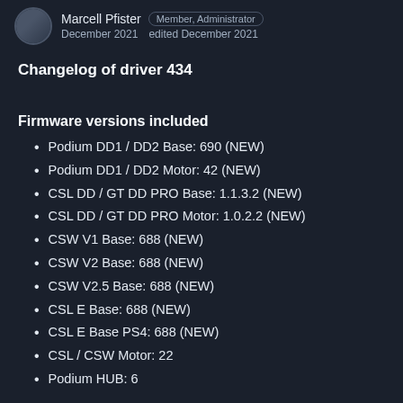Marcell Pfister   Member, Administrator   December 2021   edited December 2021
Changelog of driver 434
Firmware versions included
Podium DD1 / DD2 Base: 690 (NEW)
Podium DD1 / DD2 Motor: 42 (NEW)
CSL DD / GT DD PRO Base: 1.1.3.2 (NEW)
CSL DD / GT DD PRO Motor: 1.0.2.2 (NEW)
CSW V1 Base: 688 (NEW)
CSW V2 Base: 688 (NEW)
CSW V2.5 Base: 688 (NEW)
CSL E Base: 688 (NEW)
CSL E Base PS4: 688 (NEW)
CSL / CSW Motor: 22
Podium HUB: 6